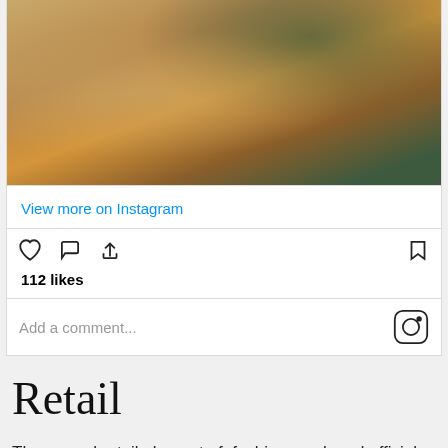[Figure (photo): Instagram post showing a person wearing an orange/mustard yellow outfit, with plant leaves visible in the background]
View more on Instagram
112 likes
Add a comment...
Retail
The annual retail element of  fashion week and official shopping experience is back – now called the simple and prosaic #LFWRetail, brands participating include Oluchi Orlandi's LuLu